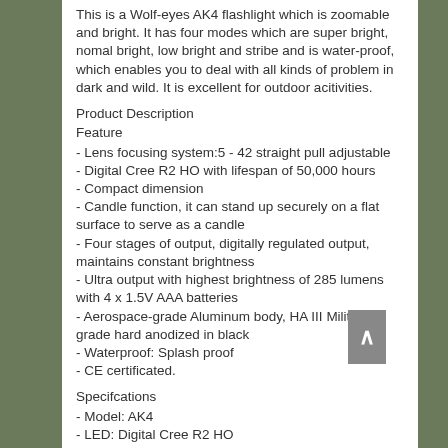This is a Wolf-eyes AK4 flashlight which is zoomable and bright. It has four modes which are super bright, nomal bright, low bright and stribe and is water-proof, which enables you to deal with all kinds of problem in dark and wild. It is excellent for outdoor acitivities.
Product Description
Feature
- Lens focusing system:5 - 42 straight pull adjustable
- Digital Cree R2 HO with lifespan of 50,000 hours
- Compact dimension
- Candle function, it can stand up securely on a flat surface to serve as a candle
- Four stages of output, digitally regulated output, maintains constant brightness
- Ultra output with highest brightness of 285 lumens with 4 x 1.5V AAA batteries
- Aerospace-grade Aluminum body, HA III Military grade hard anodized in black
- Waterproof: Splash proof
- CE certificated.
Specifcations
- Model: AK4
- LED: Digital Cree R2 HO
- Max Output: 285 lumens with 4 x 1.5V AAA batteries
- Reflector: Lens and OP aluminum reflector high temperature processed, layers of alloy coating films.
- Material: aircraft aluminum alloy